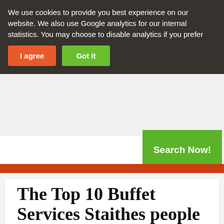We use cookies to provide you best experience on our website. We also use Google analytics for our internal statistics. You may choose to disable analytics if you prefer
I agree | Got it
Search Now!
The Top 10 Buffet Services Staithes people trust!
Exceptional buffet services and high quality food is what you need when looking for a professional catering company in the Staithes area, and fortunately we at quickbuffet.co.uk are here to help you find just what you need.